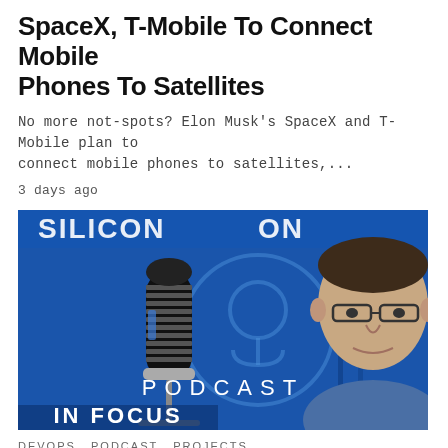SpaceX, T-Mobile To Connect Mobile Phones To Satellites
No more not-spots? Elon Musk's SpaceX and T-Mobile plan to connect mobile phones to satellites,...
3 days ago
[Figure (photo): Silicon In Focus Podcast thumbnail showing a vintage microphone on blue background with podcast logo and a man's face on the right side, text reads PODCAST IN FOCUS]
DEVOPS  PODCAST  PROJECTS
Silicon In Focus Podcast: Open Source,